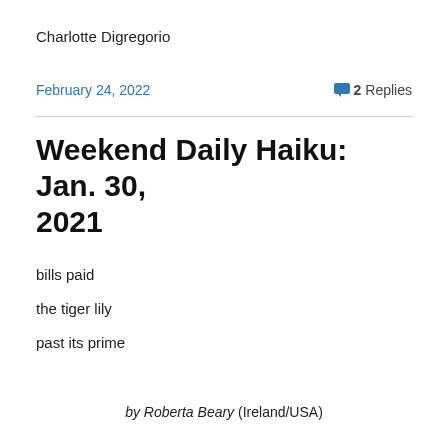Charlotte Digregorio
February 24, 2022
💬 2 Replies
Weekend Daily Haiku: Jan. 30, 2021
bills paid
the tiger lily
past its prime
by Roberta Beary (Ireland/USA)